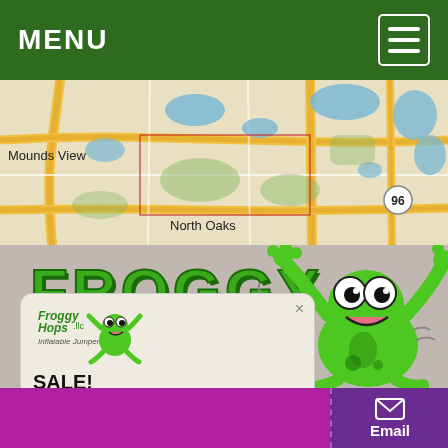MENU
[Figure (map): Google Maps screenshot showing Mounds View and North Oaks area with roads, lakes, and route 96 marker]
[Figure (illustration): FROGGY large green text logo with cartoon frog character on right side waving, and Froggy Hops LLC Inflatable Jumpers logo in popup]
SALE!
Flash sale happening now!
CLICK BELOW
Email